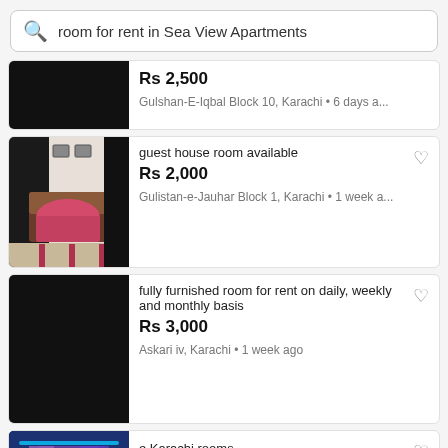room for rent in Sea View Apartments
Rs 2,500 | Gulshan-E-Iqbal Block 10, Karachi • 6 days a...
guest house room available | Rs 2,000 | Gulistan-e-Jauhar Block 1, Karachi • 1 week a...
fully furnished room for rent on daily, weekly and monthly basis | Rs 3,000 | Askari iv, Karachi • 1 week ago
+ SELL | e Karachi rooms available | Rs 3,000